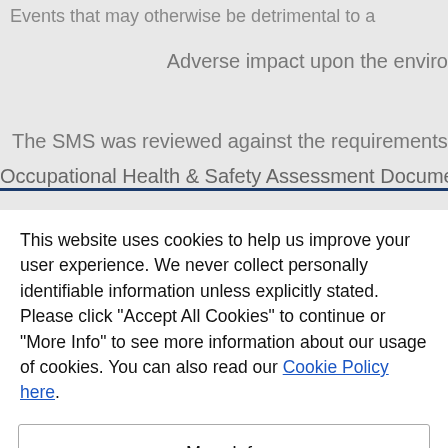Events that may otherwise be detrimental to a
Adverse impact upon the enviro
The SMS was reviewed against the requirements of O
Occupational Health & Safety Assessment Document ad
This website uses cookies to help us improve your user experience. We never collect personally identifiable information unless explicitly stated. Please click "Accept All Cookies" to continue or "More Info" to see more information about our usage of cookies. You can also read our Cookie Policy here.
More Info
Accept All Cookies